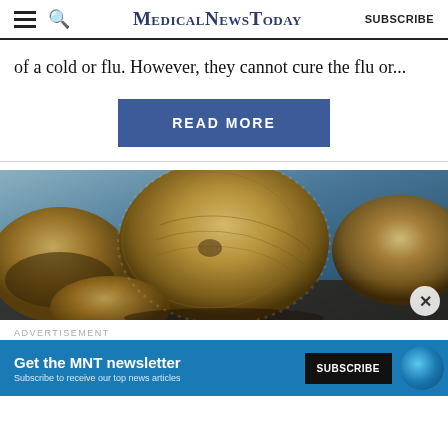MedicalNewsToday SUBSCRIBE
of a cold or flu. However, they cannot cure the flu or...
READ MORE
[Figure (photo): Close-up photo of reishi mushrooms with fuzzy brown caps on a blue surface]
ADVERTISEMENT
Get the MNT newsletter Subscribe to receive our top news articles SUBSCRIBE